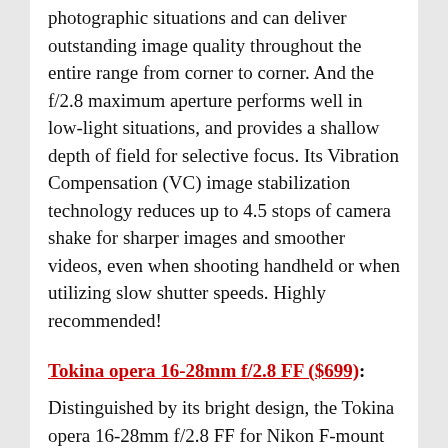photographic situations and can deliver outstanding image quality throughout the entire range from corner to corner. And the f/2.8 maximum aperture performs well in low-light situations, and provides a shallow depth of field for selective focus. Its Vibration Compensation (VC) image stabilization technology reduces up to 4.5 stops of camera shake for sharper images and smoother videos, even when shooting handheld or when utilizing slow shutter speeds. Highly recommended!
Tokina opera 16-28mm f/2.8 FF ($699):
Distinguished by its bright design, the Tokina opera 16-28mm f/2.8 FF for Nikon F-mount is a flexible wide-angle zoom well-suited to